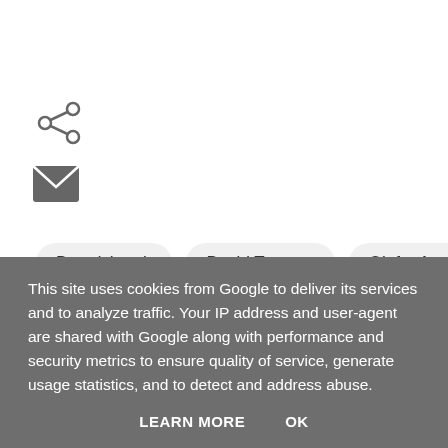[Figure (other): Share icon (three connected dots forming a share symbol)]
[Figure (other): Email/envelope icon]
Broadchurch
David Tennant
Olafur Arnalds
Olivia Colman
TV Drama
This site uses cookies from Google to deliver its services and to analyze traffic. Your IP address and user-agent are shared with Google along with performance and security metrics to ensure quality of service, generate usage statistics, and to detect and address abuse.
LEARN MORE
OK